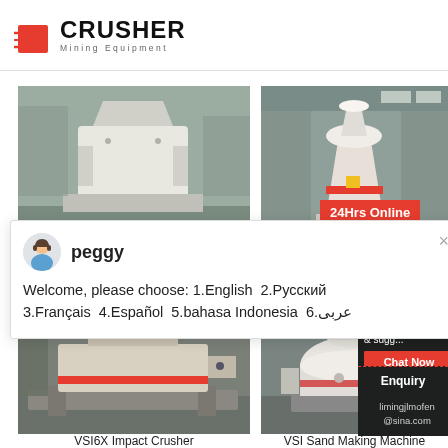CRUSHER Mining Equipment
[Figure (photo): Industrial crusher machine photo (top-left), white heavy equipment in factory setting]
[Figure (photo): Industrial cone crusher machine photo (top-right), white and red equipment in factory with '24Hrs Online' badge]
24Hrs Online
peggy
Welcome, please choose: 1.English  2.Русский  3.Français  4.Español  5.bahasa Indonesia  6.عربى
[Figure (photo): VSI6X Impact Crusher machine photo (bottom-left), large industrial machine in factory]
[Figure (photo): VSI Sand Making Machine photo (bottom-right), white industrial equipment]
Need  & sugg...
1
Chat Now
Enquiry
limingjlmofen
@sina.com
VSI6X Impact Crusher
VSI Sand Making Machine